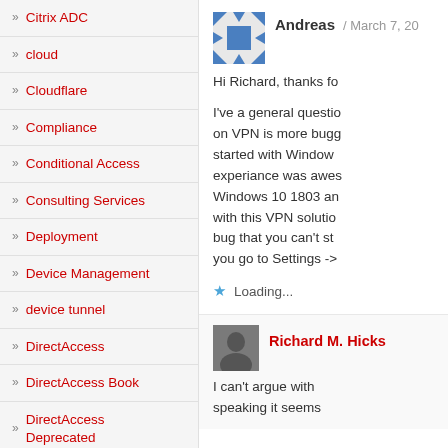» Citrix ADC
» cloud
» Cloudflare
» Compliance
» Conditional Access
» Consulting Services
» Deployment
» Device Management
» device tunnel
» DirectAccess
» DirectAccess Book
» DirectAccess Deprecated
» DirectAccess End of
Andreas / March 7, 20...
Hi Richard, thanks fo...
I've a general questio... on VPN is more bugg... started with Window... experiance was awes... Windows 10 1803 an... with this VPN solutio... bug that you can't st... you go to Settings ->...
Loading...
Richard M. Hicks
I can't argue with... speaking it seems...